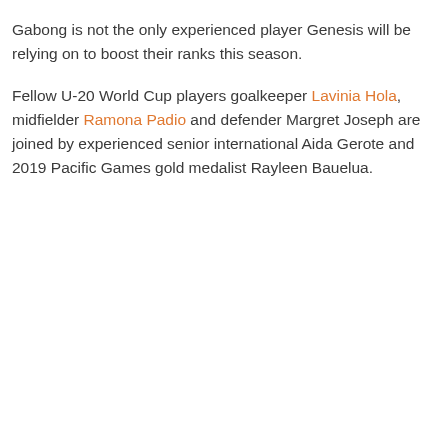Gabong is not the only experienced player Genesis will be relying on to boost their ranks this season.
Fellow U-20 World Cup players goalkeeper Lavinia Hola, midfielder Ramona Padio and defender Margret Joseph are joined by experienced senior international Aida Gerote and 2019 Pacific Games gold medalist Rayleen Bauelua.